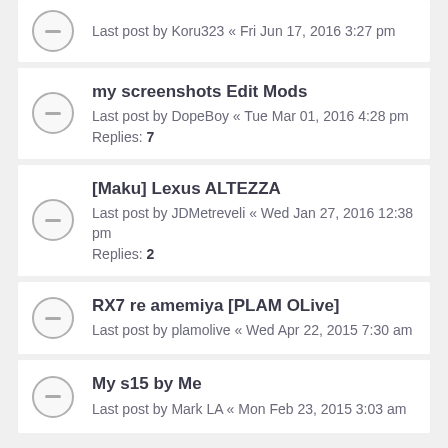Last post by Koru323 « Fri Jun 17, 2016 3:27 pm
my screenshots Edit Mods
Last post by DopeBoy « Tue Mar 01, 2016 4:28 pm
Replies: 7
[Maku] Lexus ALTEZZA
Last post by JDMetreveli « Wed Jan 27, 2016 12:38 pm
Replies: 2
RX7 re amemiya [PLAM OLive]
Last post by plamolive « Wed Apr 22, 2015 7:30 am
My s15 by Me
Last post by Mark LA « Mon Feb 23, 2015 3:03 am